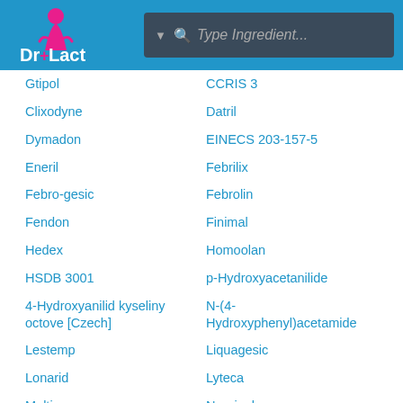Dr+Lact | Type Ingredient...
Gtipol
CCRIS 3
Clixodyne
Datril
Dymadon
EINECS 203-157-5
Eneril
Febrilix
Febro-gesic
Febrolin
Fendon
Finimal
Hedex
Homoolan
HSDB 3001
p-Hydroxyacetanilide
4-Hydroxyanilid kyseliny octove [Czech]
N-(4-Hydroxyphenyl)acetamide
Lestemp
Liquagesic
Lonarid
Lyteca
Multin
Naprinol
NCI-C55801
NSC 109028